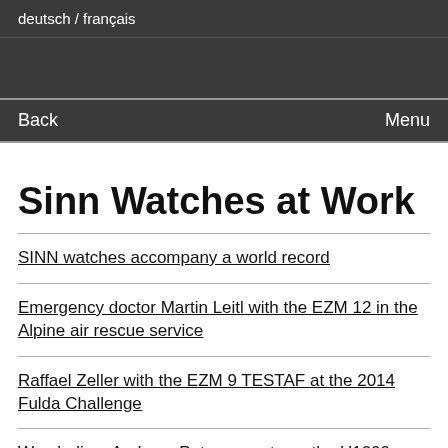deutsch / français
Back   Menu
Sinn Watches at Work
SINN watches accompany a world record
Emergency doctor Martin Leitl with the EZM 12 in the Alpine air rescue service
Raffael Zeller with the EZM 9 TESTAF at the 2014 Fulda Challenge
Wreck diver Andreas Peters counts on the U1000